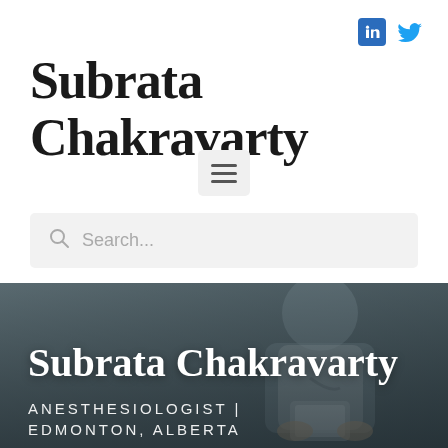[Figure (logo): LinkedIn and Twitter social media icons in top right corner]
Subrata Chakravarty
[Figure (other): Hamburger menu button (three horizontal lines) in a light grey rounded rectangle]
Search...
[Figure (photo): Dark background photo of a doctor or medical professional in a white coat, partially visible, holding a tablet. Overlaid with text identifying the subject.]
Subrata Chakravarty
ANESTHESIOLOGIST |
EDMONTON, ALBERTA